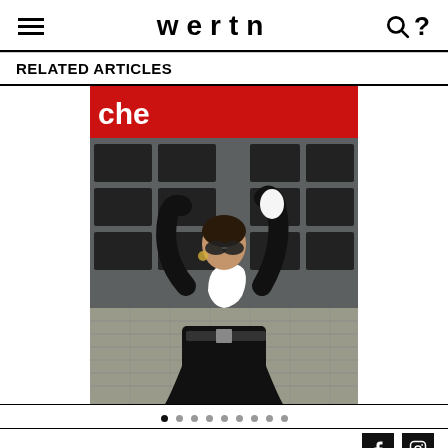wertn
RELATED ARTICLES
[Figure (photo): Fashion photo of a woman in a black turtleneck with a white chess knight graphic, black skirt, sunglasses, and black gloves, posing with one arm raised in front of a building with a red sign reading 'che']
• • • • • • • • •